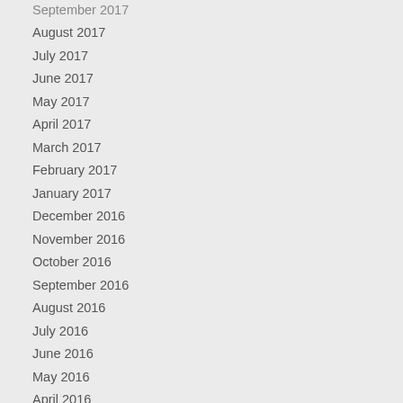September 2017
August 2017
July 2017
June 2017
May 2017
April 2017
March 2017
February 2017
January 2017
December 2016
November 2016
October 2016
September 2016
August 2016
July 2016
June 2016
May 2016
April 2016
March 2016
February 2016
January 2016